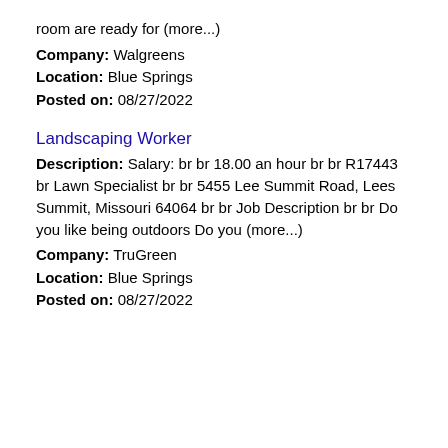room are ready for (more...)
Company: Walgreens
Location: Blue Springs
Posted on: 08/27/2022
Landscaping Worker
Description: Salary: br br 18.00 an hour br br R17443 br Lawn Specialist br br 5455 Lee Summit Road, Lees Summit, Missouri 64064 br br Job Description br br Do you like being outdoors Do you (more...)
Company: TruGreen
Location: Blue Springs
Posted on: 08/27/2022